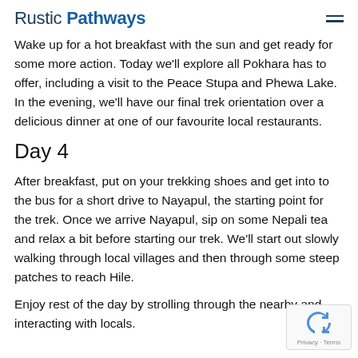Rustic Pathways
Wake up for a hot breakfast with the sun and get ready for some more action. Today we'll explore all Pokhara has to offer, including a visit to the Peace Stupa and Phewa Lake. In the evening, we'll have our final trek orientation over a delicious dinner at one of our favourite local restaurants.
Day 4
After breakfast, put on your trekking shoes and get into to the bus for a short drive to Nayapul, the starting point for the trek. Once we arrive Nayapul, sip on some Nepali tea and relax a bit before starting our trek. We'll start out slowly walking through local villages and then through some steep patches to reach Hile.
Enjoy rest of the day by strolling through the nearby and interacting with locals.